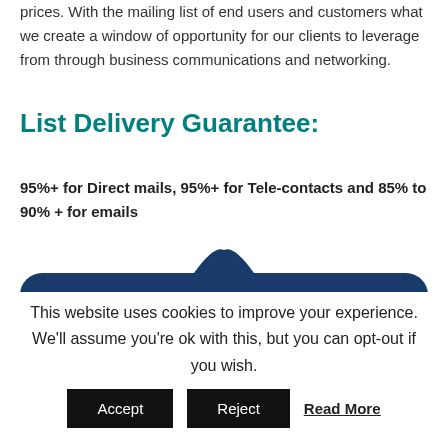prices. With the mailing list of end users and customers what we create a window of opportunity for our clients to leverage from through business communications and networking.
List Delivery Guarantee:
95%+ for Direct mails, 95%+ for Tele-contacts and 85% to 90% + for emails
[Figure (infographic): Dark blue banner with a pointed arch top, containing the heading 'What the List Includes:' in cyan text, and below it '* Company Name' and 'Country' in yellow text]
This website uses cookies to improve your experience. We'll assume you're ok with this, but you can opt-out if you wish.
Accept | Reject | Read More